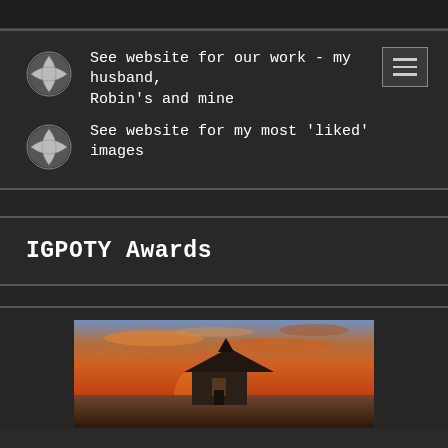See website for our work - my husband, Robin's and mine
See website for my most 'liked' images
IGPOTY Awards
[Figure (photo): Landscape photo showing a stone church/chapel building against a dramatic sunset sky with vivid orange, red and purple clouds]